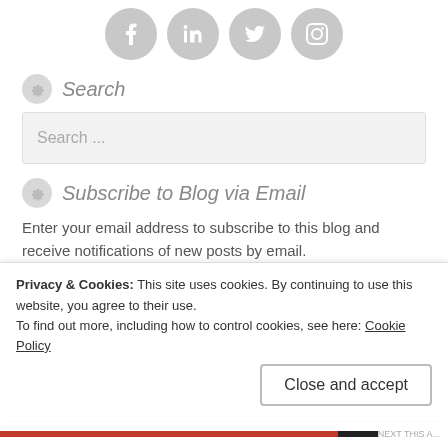[Figure (other): Row of four social media icons (Facebook, LinkedIn, Twitter, Instagram) as grey circles with white icons]
Search
[Figure (other): Search input box with placeholder text 'Search ...']
Subscribe to Blog via Email
Enter your email address to subscribe to this blog and receive notifications of new posts by email.
[Figure (other): Email address input box with placeholder text 'Enter your email address']
Privacy & Cookies: This site uses cookies. By continuing to use this website, you agree to their use.
To find out more, including how to control cookies, see here: Cookie Policy
Close and accept